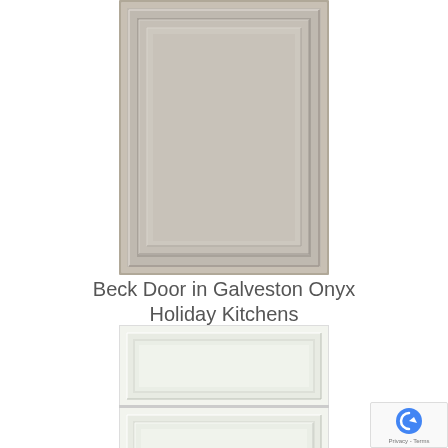[Figure (photo): Cabinet door sample - Beck Door in Galveston Onyx finish, gray raised-panel door style, top view]
Beck Door in Galveston Onyx
Holiday Kitchens
[Figure (photo): Cabinet door sample - white/cream raised-panel door style, bottom view showing drawer front and door panel]